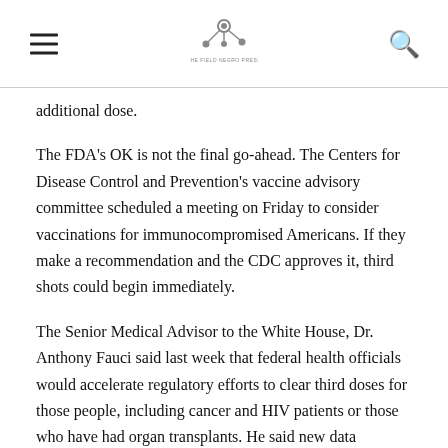[hamburger menu] [The Field Negro Press logo] [search icon]
additional dose.
The FDA's OK is not the final go-ahead. The Centers for Disease Control and Prevention's vaccine advisory committee scheduled a meeting on Friday to consider vaccinations for immunocompromised Americans. If they make a recommendation and the CDC approves it, third shots could begin immediately.
The Senior Medical Advisor to the White House, Dr. Anthony Fauci said last week that federal health officials would accelerate regulatory efforts to clear third doses for those people, including cancer and HIV patients or those who have had organ transplants. He said new data suggested they fail to generate an adequate immune response after two doses of a vaccine.